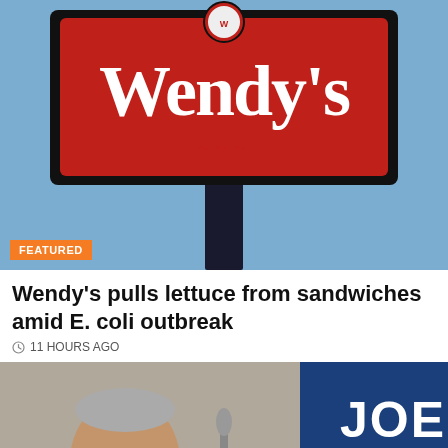[Figure (photo): Wendy's restaurant sign against a blue sky, with red sign and white Wendy's lettering. A 'FEATURED' orange badge is overlaid at bottom left.]
Wendy's pulls lettuce from sandwiches amid E. coli outbreak
11 HOURS AGO
[Figure (photo): Joe Manchin at a podium with a 'JOE MANCHIN' campaign banner visible in the background.]